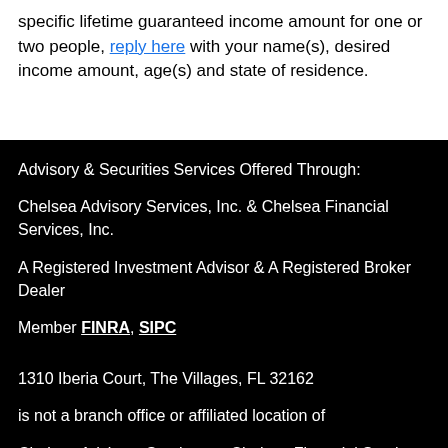specific lifetime guaranteed income amount for one or two people, reply here with your name(s), desired income amount, age(s) and state of residence.
Advisory & Securities Services Offered Through:
Chelsea Advisory Services, Inc. & Chelsea Financial Services, Inc.
A Registered Investment Advisor & A Registered Broker Dealer
Member FINRA, SIPC
1310 Iberia Court, The Villages, FL 32162
is not a branch office or affiliated location of
Chelsea Advisory Services or Chelsea Financial Services